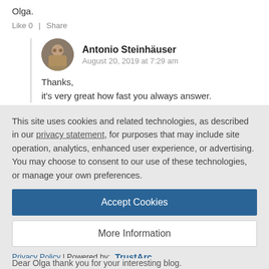Olga.
Like 0  |  Share
Antonio Steinhäuser
August 20, 2019 at 7:29 am
Thanks,
it's very great how fast you always answer.
This site uses cookies and related technologies, as described in our privacy statement, for purposes that may include site operation, analytics, enhanced user experience, or advertising. You may choose to consent to our use of these technologies, or manage your own preferences.
Accept Cookies
More Information
Privacy Policy | Powered by: TrustArc
Dear Olga thank you for your interesting blog.